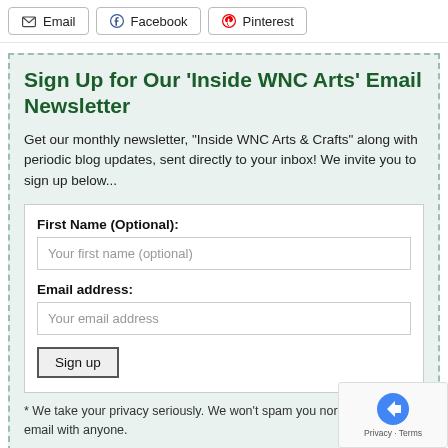Email
Facebook
Pinterest
Sign Up for Our 'Inside WNC Arts' Email Newsletter
Get our monthly newsletter, "Inside WNC Arts & Crafts" along with periodic blog updates, sent directly to your inbox! We invite you to sign up below...
First Name (Optional):
Your first name (optional)
Email address:
Your email address
Sign up
* We take your privacy seriously. We won't spam you nor share your email with anyone.